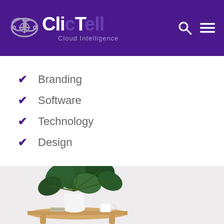ClicTell Cloud Intelligence
Branding
Software
Technology
Design
[Figure (photo): Photo of a small wooden side table with a white vase holding a large leafy monstera plant, a white coffee mug, and a small notebook/coaster, set against a light grey background.]